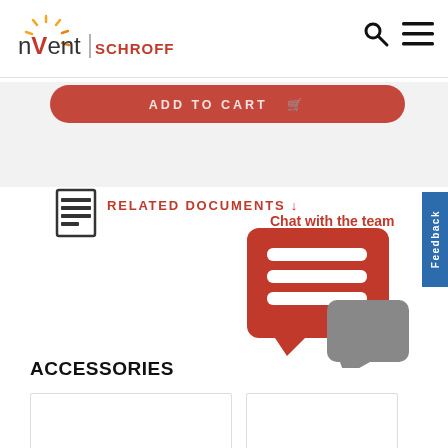[Figure (logo): nVent SCHROFF logo with sunburst graphic and search/hamburger menu icons in header]
[Figure (screenshot): Red ADD TO CART button partially visible]
[Figure (screenshot): RELATED DOCUMENTS section with document icon and red arrow, overlaid by Chat with the team popup showing red speech bubble icon and gray speech bubble]
ACCESSORIES
[Figure (screenshot): Bottom of page showing two product card stubs with partial content]